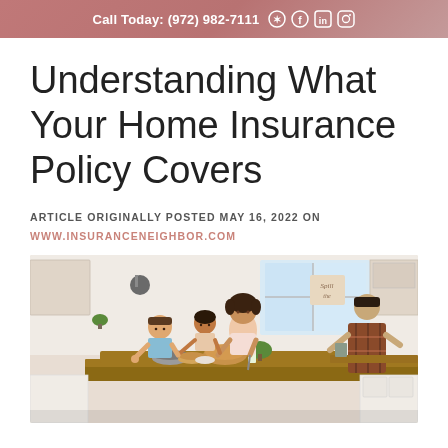Call Today: (972) 982-7111
Understanding What Your Home Insurance Policy Covers
ARTICLE ORIGINALLY POSTED MAY 16, 2022 ON WWW.INSURANCENEIGHBOR.COM
[Figure (photo): A family in a kitchen — a woman stands cooking, two children sit at a kitchen island with food, and a man works at the counter in the background. The kitchen has white cabinets and wooden countertops.]